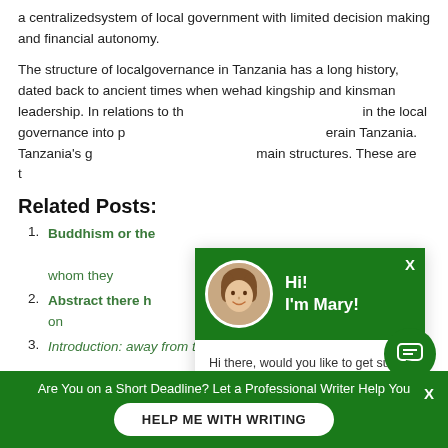a centralized system of local government with limited decision making and financial autonomy.
The structure of local governance in Tanzania has a long history, dated back to ancient times when we had kingship and kinsman leadership. In relations to th... the local governance into p... erain Tanzania. Tanzania's g... main structures. These are t...
Related Posts:
Buddhism or the... whom they
Abstract there h... on
Introduction: away from the central element o...
[Figure (other): Chat popup overlay with avatar of Mary, greeting text 'Hi! I'm Mary!', chat message 'Hi there, would you like to get such a paper? How about receiving a customized one?', and a 'Click to learn more' link. Green chat icon button in bottom right.]
Are You on a Short Deadline? Let a Professional Writer Help You
HELP ME WITH WRITING